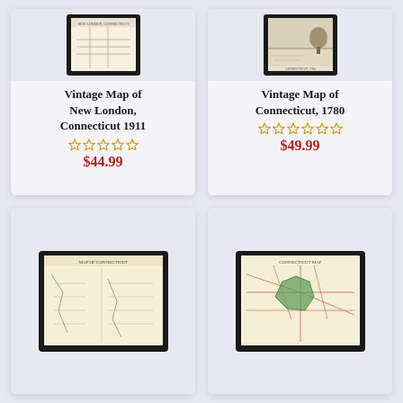[Figure (photo): Framed vintage map of New London Connecticut 1911 in black frame on light background]
Vintage Map of New London, Connecticut 1911
★★★★★ (empty stars rating)
$44.99
[Figure (photo): Framed vintage map of Connecticut 1780 in black frame on light background]
Vintage Map of Connecticut, 1780
★★★★★ (empty stars rating)
$49.99
[Figure (map): Framed vintage black and white map with rivers and towns on cream paper in black frame]
[Figure (map): Framed vintage map showing green highlighted region with road network on cream paper in black frame]